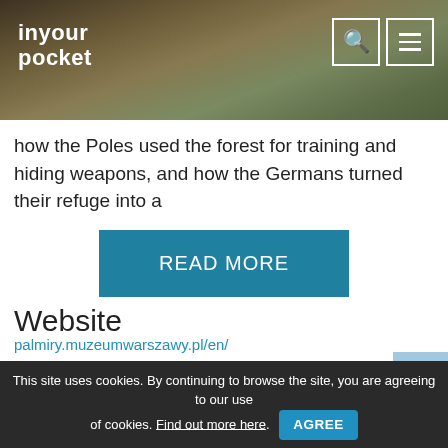inyour pocket
how the Poles used the forest for training and hiding weapons, and how the Germans turned their refuge into a
READ MORE
Website
palmiry.muzeumwarszawy.pl/en/
Social Links:
[Figure (logo): Facebook logo icon - blue square with white letter f]
This site uses cookies. By continuing to browse the site, you are agreeing to our use of cookies. Find out more here. AGREE